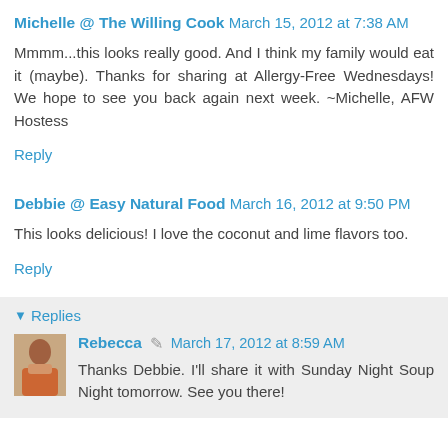Michelle @ The Willing Cook  March 15, 2012 at 7:38 AM
Mmmm...this looks really good. And I think my family would eat it (maybe). Thanks for sharing at Allergy-Free Wednesdays! We hope to see you back again next week. ~Michelle, AFW Hostess
Reply
Debbie @ Easy Natural Food  March 16, 2012 at 9:50 PM
This looks delicious! I love the coconut and lime flavors too.
Reply
Replies
Rebecca  March 17, 2012 at 8:59 AM
Thanks Debbie. I'll share it with Sunday Night Soup Night tomorrow. See you there!